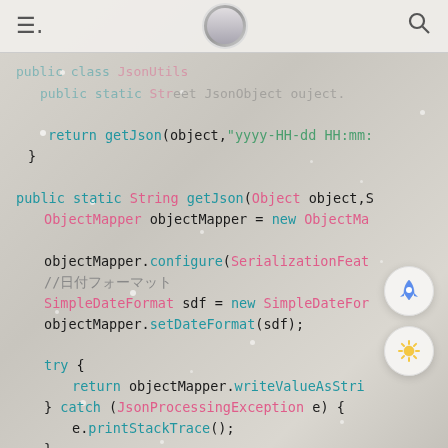Navigation bar with hamburger menu, avatar, and search icon
[Figure (screenshot): Code editor screenshot showing Java code for a getJson utility method with ObjectMapper and SimpleDateFormat, displayed with syntax highlighting on a light beige background with anime character visible behind and snow overlay effects. Two FAB buttons (rocket and sun/theme icons) visible on the right side.]
return getJson(object,"yyyy-HH-dd HH:mm:
}

public static String getJson(Object object,S
    ObjectMapper objectMapper = new ObjectMa

    objectMapper.configure(SerializationFeat
    //日付フォーマット
    SimpleDateFormat sdf = new SimpleDateFor
    objectMapper.setDateFormat(sdf);

    try {
        return objectMapper.writeValueAsStri
    } catch (JsonProcessingException e) {
        e.printStackTrace();
    }
    return null;
}